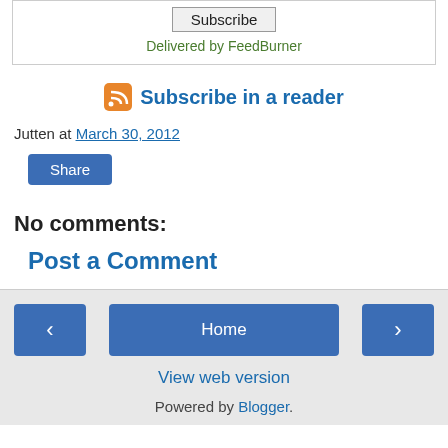[Figure (other): Subscribe button and Delivered by FeedBurner text inside a bordered box]
Subscribe in a reader
Jutten at March 30, 2012
Share
No comments:
Post a Comment
Home | View web version | Powered by Blogger.